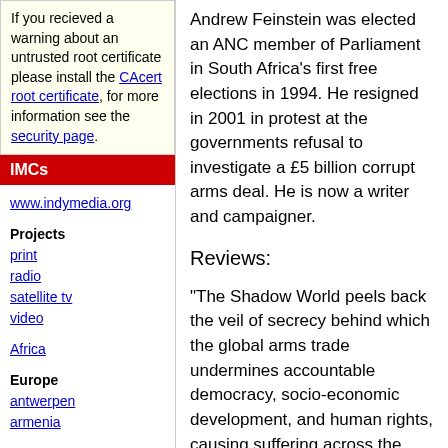If you recieved a warning about an untrusted root certificate please install the CAcert root certificate, for more information see the security page.
IMCs
www.indymedia.org
Projects
print
radio
satellite tv
video
Africa
Europe
antwerpen
armenia
Andrew Feinstein was elected an ANC member of Parliament in South Africa's first free elections in 1994. He resigned in 2001 in protest at the governments refusal to investigate a £5 billion corrupt arms deal. He is now a writer and campaigner.
Reviews:
“The Shadow World peels back the veil of secrecy behind which the global arms trade undermines accountable democracy, socio-economic development, and human rights, causing suffering across the world. In the same way that Andrew Feinstein exposed a corrupt arms deal that darkened South Africa’s rainbow nation, he has now turned his forensic gaze on the impact of similar weapons deals around the world. This book is essential reading for anyone who cares about justice.